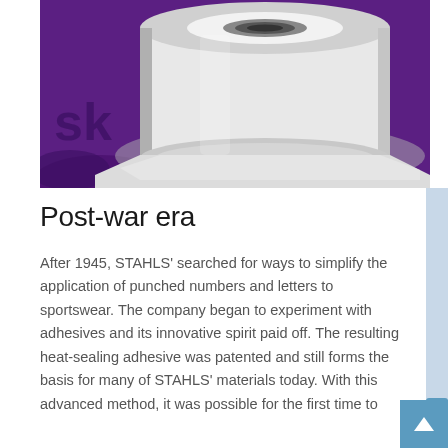[Figure (photo): A large roll of white/silver heat-sealing adhesive film on a purple background, partially showing a logo.]
Post-war era
After 1945, STAHLS' searched for ways to simplify the application of punched numbers and letters to sportswear. The company began to experiment with adhesives and its innovative spirit paid off. The resulting heat-sealing adhesive was patented and still forms the basis for many of STAHLS' materials today. With this advanced method, it was possible for the first time to